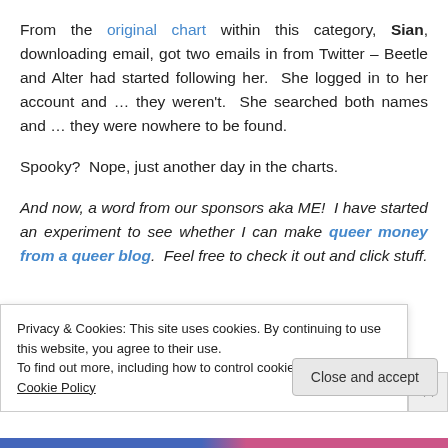From the original chart within this category, Sian, downloading email, got two emails in from Twitter – Beetle and Alter had started following her.  She logged in to her account and … they weren't.  She searched both names and … they were nowhere to be found.
Spooky?  Nope, just another day in the charts.
And now, a word from our sponsors aka ME!  I have started an experiment to see whether I can make queer money from a queer blog.  Feel free to check it out and click stuff.
Privacy & Cookies: This site uses cookies. By continuing to use this website, you agree to their use.
To find out more, including how to control cookies, see here: Cookie Policy